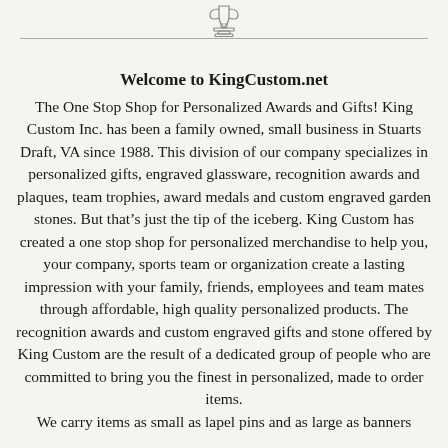[Figure (illustration): Trophy/award cup icon at the top of the page above a horizontal rule]
Welcome to KingCustom.net
The One Stop Shop for Personalized Awards and Gifts! King Custom Inc. has been a family owned, small business in Stuarts Draft, VA since 1988. This division of our company specializes in personalized gifts, engraved glassware, recognition awards and plaques, team trophies, award medals and custom engraved garden stones. But that’s just the tip of the iceberg. King Custom has created a one stop shop for personalized merchandise to help you, your company, sports team or organization create a lasting impression with your family, friends, employees and team mates through affordable, high quality personalized products. The recognition awards and custom engraved gifts and stone offered by King Custom are the result of a dedicated group of people who are committed to bring you the finest in personalized, made to order items. We carry items as small as lapel pins and as large as banners